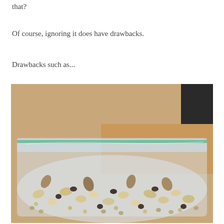that?
Of course, ignoring it does have drawbacks.
Drawbacks such as...
[Figure (photo): A large clear ziplock bag filled with trail mix (nuts, seeds, dried fruit) sitting on a wooden table surface.]